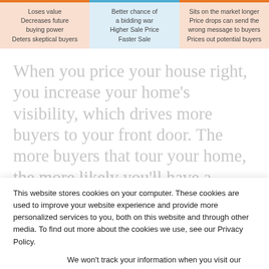| Under Priced | Right Price | Over Priced |
| --- | --- | --- |
| Loses value | Better chance of a bidding war | Sits on the market longer |
| Decreases future buying power | Higher Sale Price | Price drops can send the wrong message to buyers |
| Deters skeptical buyers | Faster Sale | Prices out potential buyers |
When you price your house right, you increase your home’s visibility, which drives more buyers to your front door. The more buyers that tour your home, the more likely you’ll have a multi-
This website stores cookies on your computer. These cookies are used to improve your website experience and provide more personalized services to you, both on this website and through other media. To find out more about the cookies we use, see our Privacy Policy.
We won’t track your information when you visit our site. But in order to comply with your preferences, we’ll have to use just one tiny cookie so that you’re not asked to make this choice again.